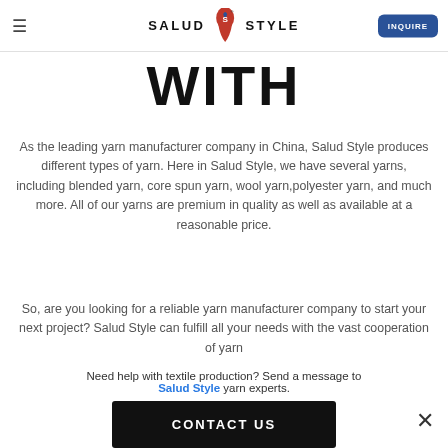SALUD STYLE — INQUIRE
WITH
As the leading yarn manufacturer company in China, Salud Style produces different types of yarn. Here in Salud Style, we have several yarns, including blended yarn, core spun yarn, wool yarn,polyester yarn, and much more. All of our yarns are premium in quality as well as available at a reasonable price.
So, are you looking for a reliable yarn manufacturer company to start your next project? Salud Style can fulfill all your needs with the vast cooperation of yarn
Need help with textile production? Send a message to Salud Style yarn experts.
CONTACT US